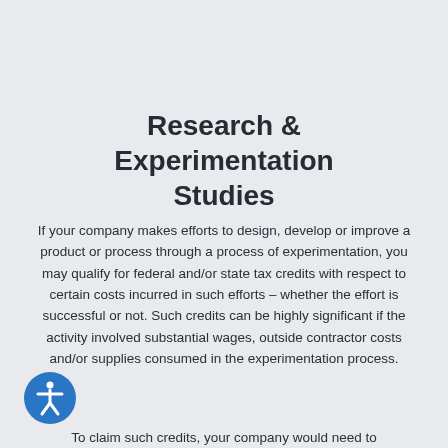Research & Experimentation Studies
If your company makes efforts to design, develop or improve a product or process through a process of experimentation, you may qualify for federal and/or state tax credits with respect to certain costs incurred in such efforts – whether the effort is successful or not. Such credits can be highly significant if the activity involved substantial wages, outside contractor costs and/or supplies consumed in the experimentation process.
To claim such credits, your company would need to